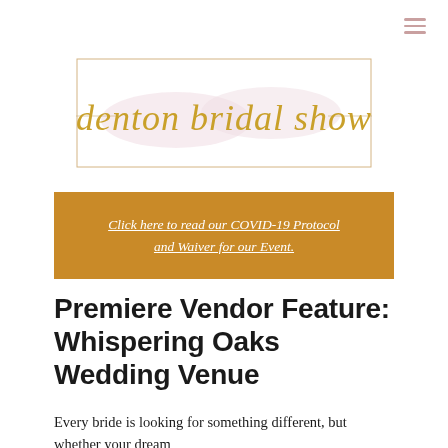[Figure (logo): Denton Bridal Show logo in gold cursive script inside a thin rectangular border with a soft pink watercolor background]
Click here to read our COVID-19 Protocol and Waiver for our Event.
Premiere Vendor Feature: Whispering Oaks Wedding Venue
Every bride is looking for something different, but whether your dream